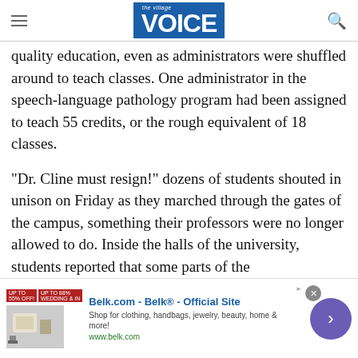the village VOICE
quality education, even as administrators were shuffled around to teach classes. One administrator in the speech-language pathology program had been assigned to teach 55 credits, or the rough equivalent of 18 classes.
“Dr. Cline must resign!” dozens of students shouted in unison on Friday as they marched through the gates of the campus, something their professors were no longer allowed to do. Inside the halls of the university, students reported that some parts of the
[Figure (other): Advertisement banner for Belk.com - Belk Official Site. Shop for clothing, handbags, jewelry, beauty, home & more! www.belk.com]